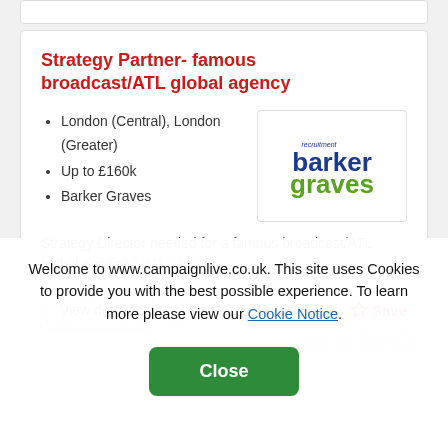Strategy Partner- famous broadcast/ATL global agency
London (Central), London (Greater)
Up to £160k
Barker Graves
[Figure (logo): Barker Graves recruitment logo — 'barker' in dark blue bold, 'graves' in green bold, with small 'recruitment' text above]
Strategy Director needed for a famous broadcast/ATL global agency
View details
6 days left
Save
Welcome to www.campaignlive.co.uk. This site uses Cookies to provide you with the best possible experience. To learn more please view our Cookie Notice.
Close
Project Manager
London
£30000 - £35000 pa